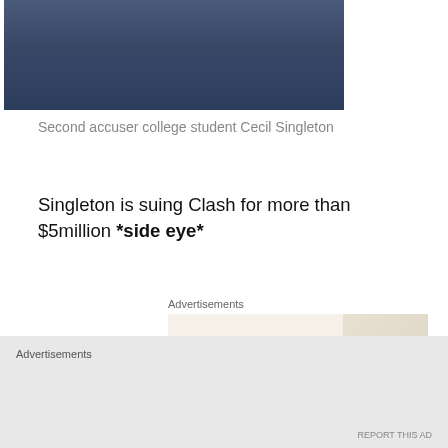[Figure (photo): Cropped photo of a person wearing a dark blue jacket, only the lower portion of the torso visible]
Second accuser college student Cecil Singleton
Singleton is suing Clash for more than $5million *side eye*
Advertisements
[Figure (screenshot): Advertisement for a website design service. Beige background with serif text reading 'Professionally designed sites in less than a week'. Green 'Explore options' button. Decorative mockup on the right side with a large letter A.]
Advertisements
REPORT THIS AD